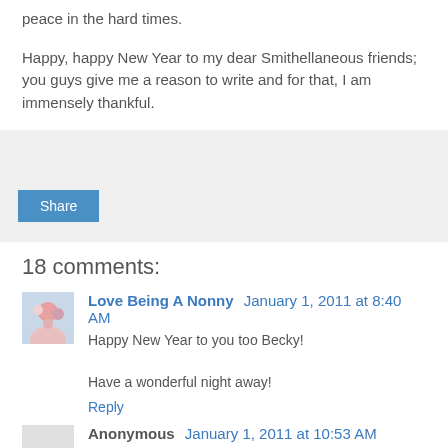peace in the hard times.
Happy, happy New Year to my dear Smithellaneous friends; you guys give me a reason to write and for that, I am immensely thankful.
[Figure (other): Share button widget with light gray background and a blue Share button]
18 comments:
Love Being A Nonny  January 1, 2011 at 8:40 AM
Happy New Year to you too Becky!

Have a wonderful night away!
Reply
Anonymous  January 1, 2011 at 10:53 AM